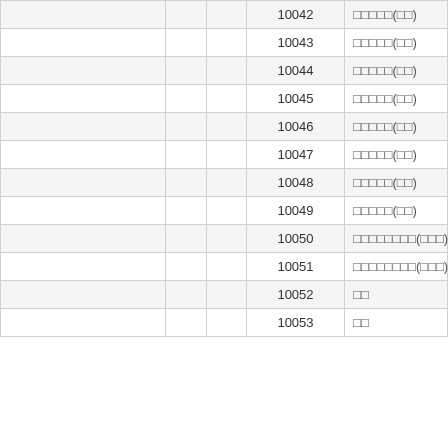|  |  |  | 코드번호 | 명칭 |
| --- | --- | --- | --- | --- |
|  |  |  | 10042 | □□□□□(□□) |
|  |  |  | 10043 | □□□□□(□□) |
|  |  |  | 10044 | □□□□□(□□) |
|  |  |  | 10045 | □□□□□(□□) |
|  |  |  | 10046 | □□□□□(□□) |
|  |  |  | 10047 | □□□□□(□□) |
|  |  |  | 10048 | □□□□□(□□) |
|  |  |  | 10049 | □□□□□(□□) |
|  |  |  | 10050 | □□□□□□□□(□□) |
|  |  |  | 10051 | □□□□□□□□(□□) |
|  |  |  | 10052 | □□ |
|  |  |  | 10053 | □□ |